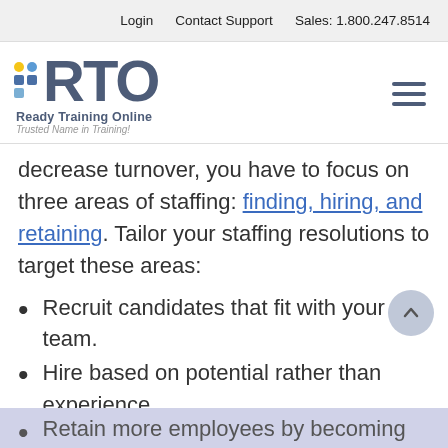Login   Contact Support   Sales: 1.800.247.8514
[Figure (logo): Ready Training Online (RTO) logo with colorful dot grid and stylized RTO text, tagline: Trusted Name in Training!]
decrease turnover, you have to focus on three areas of staffing: finding, hiring, and retaining. Tailor your staffing resolutions to target these areas:
Recruit candidates that fit with your team.
Hire based on potential rather than experience.
Retain more employees by becoming...